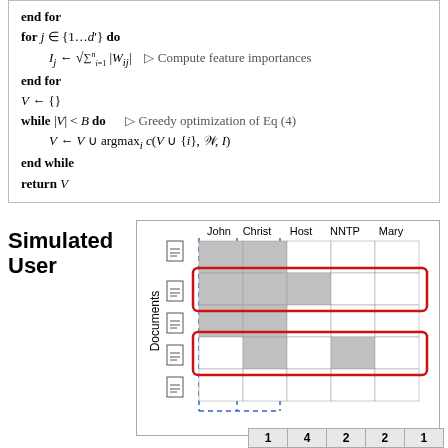end for
for j ∈ {1…d'} do
  I_j ← √(∑_{i=1}^{n} |W_{ij}|)  ▷ Compute feature importances
end for
V ← {}
while |V| < B do  ▷ Greedy optimization of Eq (4)
  V ← V ∪ argmax_i c(V ∪ {i}, W, I)
end while
return V
Simulated User
[Figure (other): Matrix diagram showing documents vs features (John, Christ, Host, NNTP, Mary) with shaded cells indicating presence, dashed blue vertical lines highlighting selected features, and red rectangles highlighting selected document rows. Document icons shown on left. Bottom row shows numbers 1, 4, 2, 2, 1.]